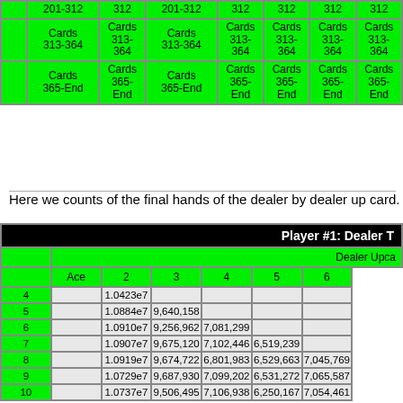|  | 201-312 | 312 | 201-312 | 312 | 312 | 312 | 312 |
| --- | --- | --- | --- | --- | --- | --- | --- |
|  | Cards 313-364 | Cards 313-364 | Cards 313-364 | Cards 313-364 | Cards 313-364 | Cards 313-364 | Cards 313-364 |
|  | Cards 365-End | Cards 365-End | Cards 365-End | Cards 365-End | Cards 365-End | Cards 365-End | Cards 365-End |
Here we counts of the final hands of the dealer by dealer up card.
| Player #1: Dealer T |  | Dealer Upcard |  | Ace | 2 | 3 | 4 | 5 | 6 |
| --- | --- | --- | --- | --- | --- | --- | --- | --- | --- |
| 4 |  | 1.0423e7 |  |  |  |  |
| 5 |  | 1.0884e7 | 9,640,158 |  |  |  |
| 6 |  | 1.0910e7 | 9,256,962 | 7,081,299 |  |  |
| 7 |  | 1.0907e7 | 9,675,120 | 7,102,446 | 6,519,239 |  |
| 8 |  | 1.0919e7 | 9,674,722 | 6,801,983 | 6,529,663 | 7,045,769 |
| 9 |  | 1.0729e7 | 9,687,930 | 7,099,202 | 6,531,272 | 7,065,587 |
| 10 |  | 1.0737e7 | 9,506,495 | 7,106,938 | 6,250,167 | 7,054,461 |